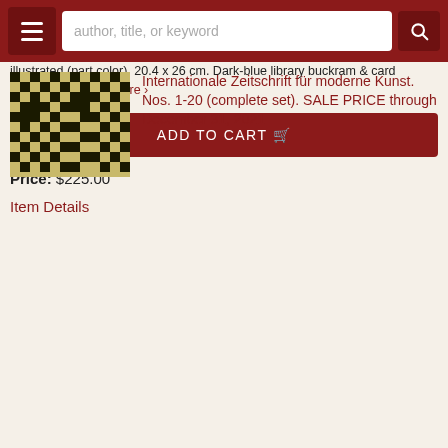author, title, or keyword
[Figure (illustration): Book cover with black and tan/yellow geometric mosaic/checkerboard pattern]
Internationale Zeitschrift für moderne Kunst. Nos. 1-20 (complete set). SALE PRICE through December 31, 2021
Bruxelles: L'Association pour la Diffusion Artistique et Culturelle (A.D.A.C.), 1956-1966. 20 issues (all published). 16 issues in 5 volumes with covers bound in; nos. 11, 12, 13 & 18 in original stiff card covers. Profusely illustrated (part color). 20.4 x 26 cm. Dark-blue library buckram & card covers. One of..... More ›
ADD TO CART
Price: $225.00
Item Details